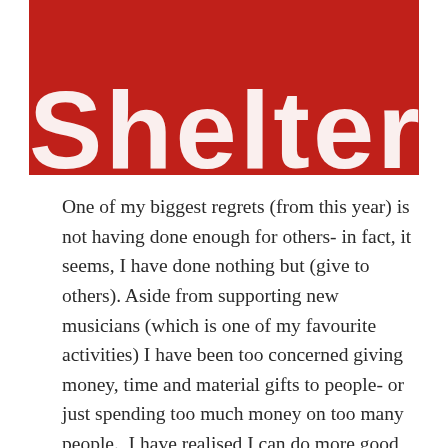[Figure (photo): Close-up photo of a red Shelter charity banner/flag with large white bold text reading 'Shelter', partially cropped showing mainly the bottom portion of the lettering.]
One of my biggest regrets (from this year) is not having done enough for others- in fact, it seems, I have done nothing but (give to others). Aside from supporting new musicians (which is one of my favourite activities) I have been too concerned giving money, time and material gifts to people- or just spending too much money on too many people.  I have realised I can do more good by doing more for charity- doing things for people I do not know (that have less than me).  Earlier this year, I launched a campaign for Mind- an idea that I hoped to